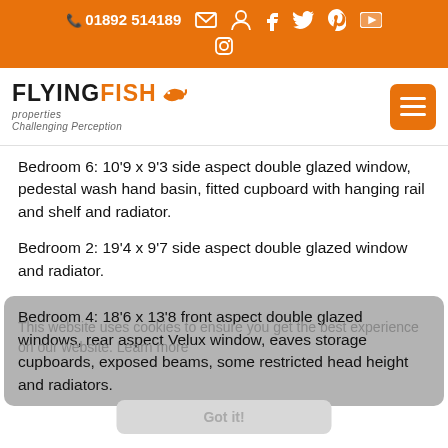01892 514189 [icons: email, user, facebook, twitter, pinterest, youtube, instagram]
[Figure (logo): Flying Fish Properties logo with fish icon and tagline Challenging Perception]
Bedroom 6: 10'9 x 9'3 side aspect double glazed window, pedestal wash hand basin, fitted cupboard with hanging rail and shelf and radiator.
Bedroom 2: 19'4 x 9'7 side aspect double glazed window and radiator.
Bedroom 4: 18'6 x 13'8 front aspect double glazed windows, rear aspect Velux window, eaves storage cupboards, exposed beams, some restricted head height and radiators.
This website uses cookies to ensure you get the best experience on our website. Learn more
Got it!
Bedroom 5: 14'7 x 10'6 front aspect double glazed window, pedestal wash hand basin and radiator.